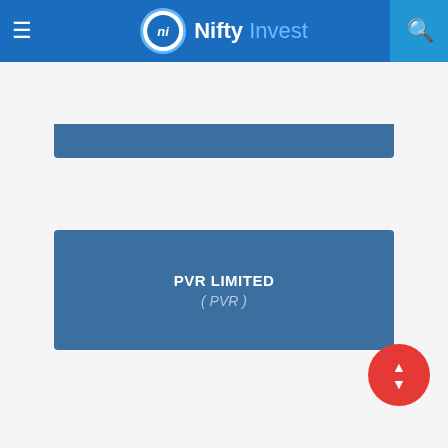Nifty Invest
[Figure (screenshot): Partial blue card from previous section (P section)]
PVR LIMITED
( PVR )
R
RAIN INDUSTRIES LIMITED
( RAIN )
[Figure (screenshot): Partial blue card at bottom of page]